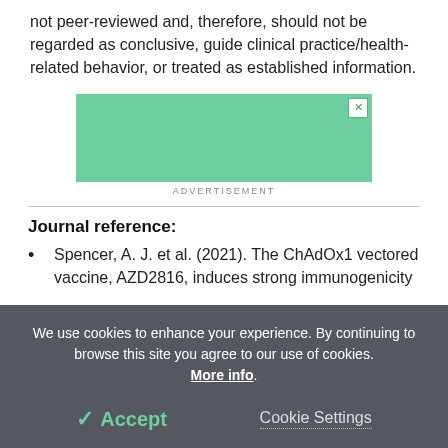not peer-reviewed and, therefore, should not be regarded as conclusive, guide clinical practice/health-related behavior, or treated as established information.
[Figure (other): Green advertisement banner with close button (X) and ADVERTISEMENT label below]
Journal reference:
Spencer, A. J. et al. (2021). The ChAdOx1 vectored vaccine, AZD2816, induces strong immunogenicity
We use cookies to enhance your experience. By continuing to browse this site you agree to our use of cookies. More info.
✓ Accept   Cookie Settings